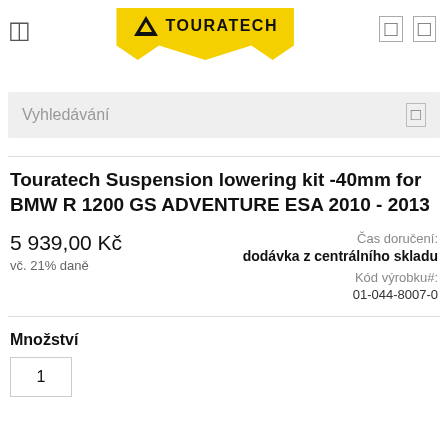[Figure (logo): Touratech logo on yellow background with mountain icon]
[Figure (screenshot): Search bar with text Vyhledávání and search icon]
Touratech Suspension lowering kit -40mm for BMW R 1200 GS ADVENTURE ESA 2010 - 2013
Čas doručení: dodávka z centrálního skladu
5 939,00 Kč
vč. 21% daně
Kód výrobku#: 01-044-8007-0
Množství
1